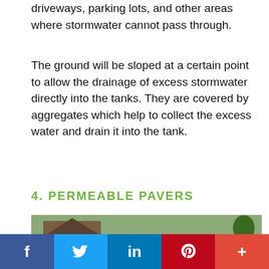driveways, parking lots, and other areas where stormwater cannot pass through.
The ground will be sloped at a certain point to allow the drainage of excess stormwater directly into the tanks. They are covered by aggregates which help to collect the excess water and drain it into the tank.
4. PERMEABLE PAVERS
[Figure (photo): A driveway being installed with black permeable paver grid material, with a house, wooden fence, and lawn visible in the background.]
f  (Twitter bird)  in  (Pinterest P)  +